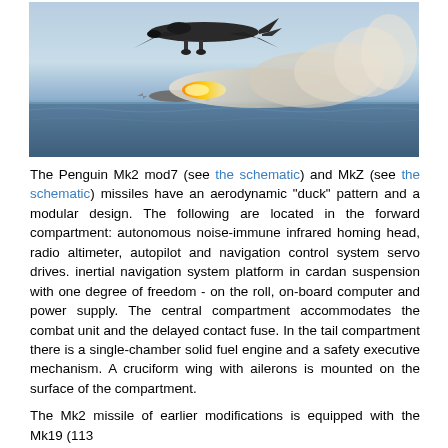[Figure (photo): A military aircraft launching a missile with a large smoke trail over the ocean.]
The Penguin Mk2 mod7 (see the schematic) and MkZ (see the schematic) missiles have an aerodynamic "duck" pattern and a modular design. The following are located in the forward compartment: autonomous noise-immune infrared homing head, radio altimeter, autopilot and navigation control system servo drives. inertial navigation system platform in cardan suspension with one degree of freedom - on the roll, on-board computer and power supply. The central compartment accommodates the combat unit and the delayed contact fuse. In the tail compartment there is a single-chamber solid fuel engine and a safety executive mechanism. A cruciform wing with ailerons is mounted on the surface of the compartment.
The Mk2 missile of earlier modifications is equipped with the Mk19 (113 b...)